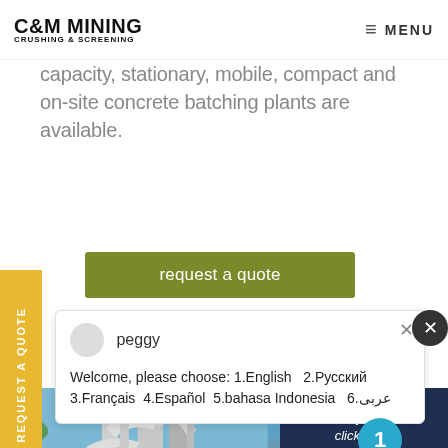C&M MINING CRUSHING & SCREENING — MENU
capacity, stationary, mobile, compact and on-site concrete batching plants are available.
REQUEST A QUOTE (side tab)
request a quote
peggy
Welcome, please choose: 1.English  2.Русский 3.Français  4.Español  5.bahasa Indonesia  6.عربى
[Figure (photo): Industrial plant/factory with large pipes, silos, and processing equipment against a blue sky.]
[Figure (photo): Customer service representative wearing a headset, smiling.]
Have any requests, click here.
Quotation